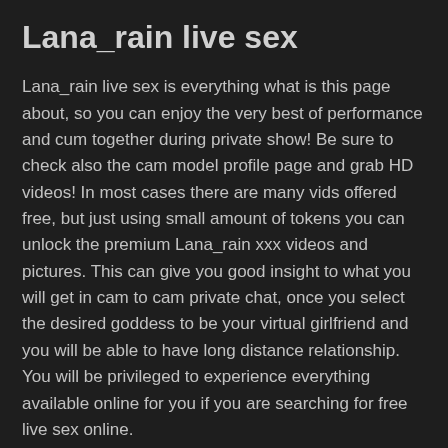Lana_rain live sex
Lana_rain live sex is everything what is this page about, so you can enjoy the very best of performance and cum together during private show! Be sure to check also the cam model profile page and grab HD videos! In most cases there are many vids offered free, but just using small amount of tokens you can unlock the premium Lana_rain xxx videos and pictures. This can give you good insight to what you will get in cam to cam private chat, once you select the desired goddess to be your virtual girlfriend and you will be able to have long distance relationship. You will be privileged to experience everything available online for you if you are searching for free live sex online.
Lana_rain live video
Click on the video or button to directly initiate the live video stream chat, join the crowd in tipping Lana_rain towards goals